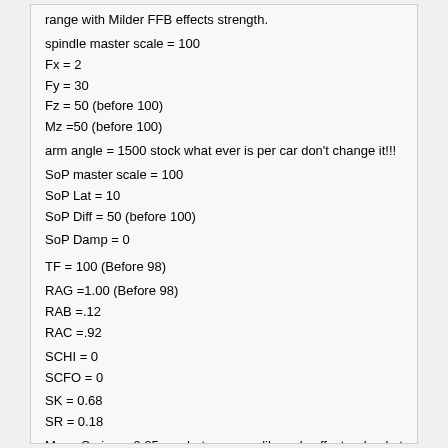range with Milder FFB effects strength.
spindle master scale = 100
Fx = 2
Fy = 30
Fz = 50 (before 100)
Mz =50 (before 100)
arm angle = 1500 stock what ever is per car don't change it!!!
SoP master scale = 100
SoP Lat = 10
SoP Diff = 50 (before 100)
SoP Damp = 0
TF = 100 (Before 98)
RAG =1.00 (Before 98)
RAB =.12
RAC =.92
SCHI = 0
SCFO = 0
SK = 0.68
SR = 0.18
Menu Spring = 0.25 or what ever you like only affects wheel at main menu
Low Speed Spring Coefficient = 0.75
Low speed Steering saturation = 1.00
Steering gain = 1.00
Game Master FFB (PS4) CSW v2 =35 other wheels set per your wheel.
Thanx tennenbaum for typing these setting in on the post:cool: